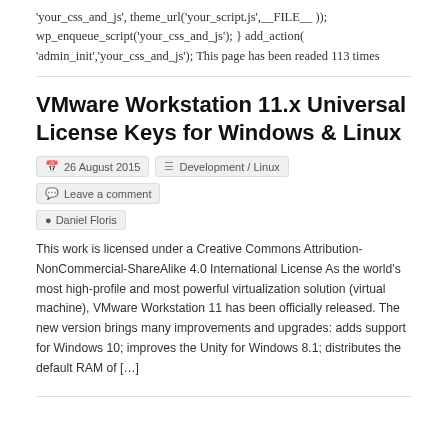'your_css_and_js', theme_url('your_script.js',__FILE__ )); wp_enqueue_script('your_css_and_js'); } add_action( 'admin_init','your_css_and_js'); This page has been readed 113 times
VMware Workstation 11.x Universal License Keys for Windows & Linux
26 August 2015   Development / Linux   Leave a comment   Daniel Floris
This work is licensed under a Creative Commons Attribution-NonCommercial-ShareAlike 4.0 International License As the world's most high-profile and most powerful virtualization solution (virtual machine), VMware Workstation 11 has been officially released. The new version brings many improvements and upgrades: adds support for Windows 10; improves the Unity for Windows 8.1; distributes the default RAM of […]